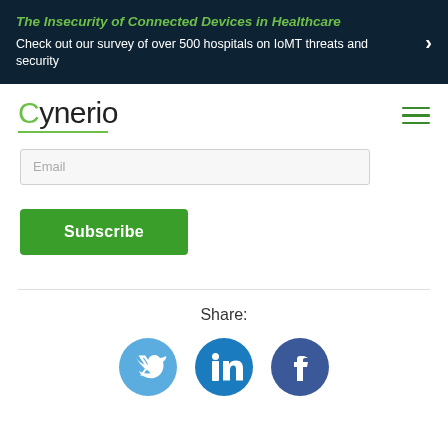The Insecurity of Connected Devices in Healthcare
Check out our survey of over 500 hospitals on IoMT threats and security
[Figure (logo): Cynerio logo with green underline]
[Figure (screenshot): Email input field placeholder]
Subscribe
Share:
[Figure (infographic): Social media share icons: Twitter (light blue), LinkedIn (dark blue), Facebook (dark navy blue)]